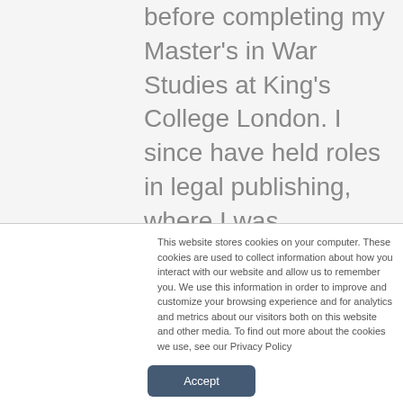before completing my Master's in War Studies at King's College London. I since have held roles in legal publishing, where I was responsible for the research on Mexico, In international events & communications for a FTSE 100 retailer, then spent three years in a boutique business intelligence consultancy in London before joining
This website stores cookies on your computer. These cookies are used to collect information about how you interact with our website and allow us to remember you. We use this information in order to improve and customize your browsing experience and for analytics and metrics about our visitors both on this website and other media. To find out more about the cookies we use, see our Privacy Policy
Accept